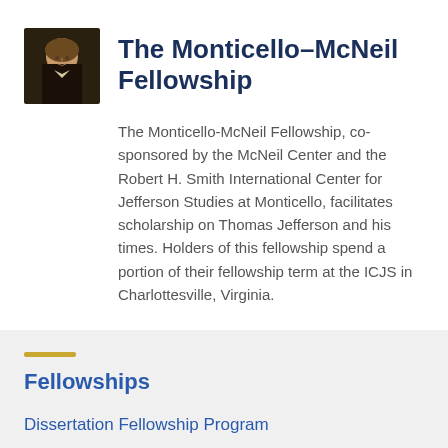[Figure (photo): Portrait of Thomas Jefferson in oval frame, dark background, historical painting style]
The Monticello–McNeil Fellowship
The Monticello-McNeil Fellowship, co-sponsored by the McNeil Center and the Robert H. Smith International Center for Jefferson Studies at Monticello, facilitates scholarship on Thomas Jefferson and his times. Holders of this fellowship spend a portion of their fellowship term at the ICJS in Charlottesville, Virginia.
Fellowships
Dissertation Fellowship Program